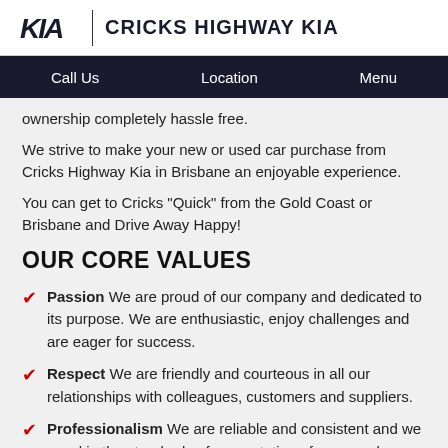KIA | CRICKS HIGHWAY KIA
Call Us   Location   Menu
ownership completely hassle free.
We strive to make your new or used car purchase from Cricks Highway Kia in Brisbane an enjoyable experience.
You can get to Cricks "Quick" from the Gold Coast or Brisbane and Drive Away Happy!
OUR CORE VALUES
Passion We are proud of our company and dedicated to its purpose. We are enthusiastic, enjoy challenges and are eager for success.
Respect We are friendly and courteous in all our relationships with colleagues, customers and suppliers.
Professionalism We are reliable and consistent and we excel in the standards of presentation of our people, products and premises.